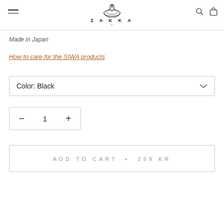ZAKKA
Made in Japan
How to care for the SIWA products
Color: Black
− 1 +
ADD TO CART · 259 KR